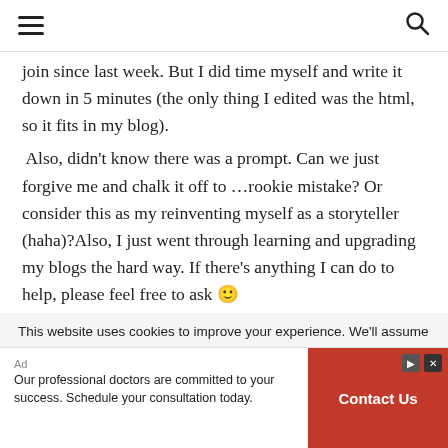[hamburger menu icon] [search icon]
join since last week. But I did time myself and write it down in 5 minutes (the only thing I edited was the html, so it fits in my blog).
 Also, didn’t know there was a prompt. Can we just forgive me and chalk it off to …rookie mistake? Or consider this as my reinventing myself as a storyteller (haha)?Also, I just went through learning and upgrading my blogs the hard way. If there’s anything I can do to help, please feel free to ask 😊
This website uses cookies to improve your experience. We’ll assume
[Figure (infographic): Advertisement bar: text on left reads 'Our professional doctors are committed to your success. Schedule your consultation today.' with 'Ad' label. Red button on right reads 'Contact Us' with close/ad icons in top right corner.]